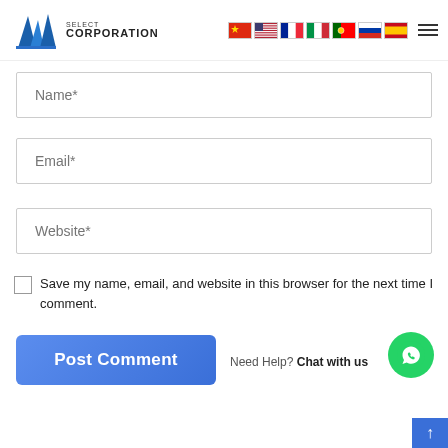[Figure (logo): BMG Select Corporation logo with blue angular icon and text]
[Figure (illustration): Row of country flags: China, USA, France, Italy, Portugal, Russia, Spain and hamburger menu icon]
Name*
Email*
Website*
Save my name, email, and website in this browser for the next time I comment.
Post Comment
Need Help? Chat with us
[Figure (illustration): WhatsApp green circle chat icon]
[Figure (illustration): Blue scroll-to-top arrow button]